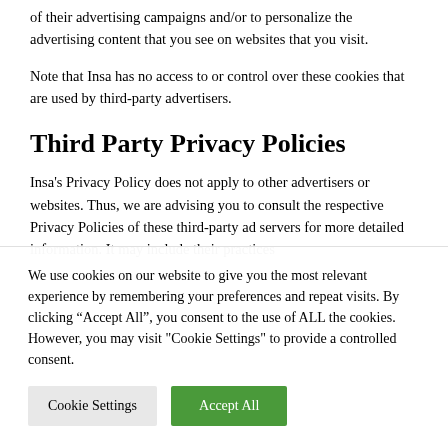of their advertising campaigns and/or to personalize the advertising content that you see on websites that you visit.
Note that Insa has no access to or control over these cookies that are used by third-party advertisers.
Third Party Privacy Policies
Insa's Privacy Policy does not apply to other advertisers or websites. Thus, we are advising you to consult the respective Privacy Policies of these third-party ad servers for more detailed information. It may include their practices
We use cookies on our website to give you the most relevant experience by remembering your preferences and repeat visits. By clicking “Accept All”, you consent to the use of ALL the cookies. However, you may visit "Cookie Settings" to provide a controlled consent.